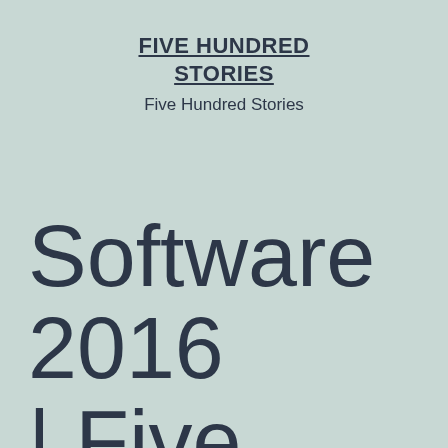FIVE HUNDRED STORIES
Five Hundred Stories
Software 2016 | Five Hundred Stories